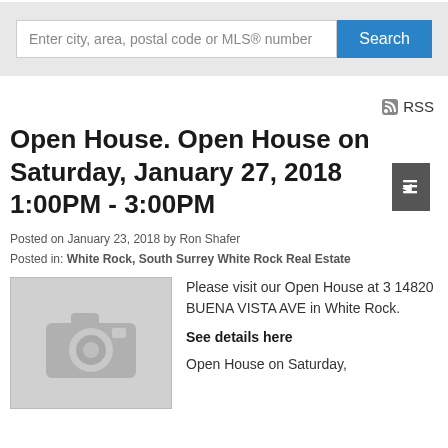[Figure (screenshot): Search bar with input field placeholder 'Enter city, area, postal code or MLS® number' and a blue Search button]
RSS
Open House. Open House on Saturday, January 27, 2018 1:00PM - 3:00PM
Posted on January 23, 2018 by Ron Shafer
Posted in: White Rock, South Surrey White Rock Real Estate
[Figure (photo): Placeholder image with a camera icon on grey background]
Please visit our Open House at 3 14820 BUENA VISTA AVE in White Rock.
See details here
Open House on Saturday,